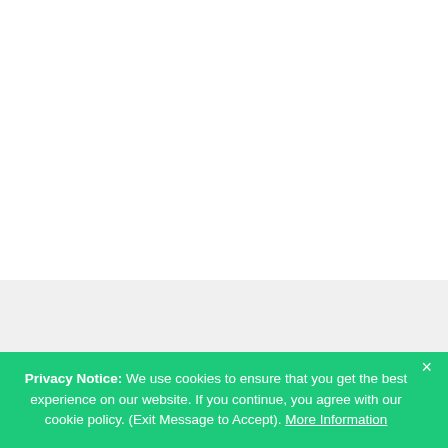Privacy Notice: We use cookies to ensure that you get the best experience on our website. If you continue, you agree with our cookie policy. (Exit Message to Accept). More Information